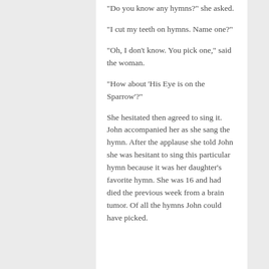“Do you know any hymns?” she asked.
“I cut my teeth on hymns. Name one?”
“Oh, I don’t know. You pick one,” said the woman.
“How about ‘His Eye is on the Sparrow’?”
She hesitated then agreed to sing it. John accompanied her as she sang the hymn. After the applause she told John she was hesitant to sing this particular hymn because it was her daughter’s favorite hymn. She was 16 and had died the previous week from a brain tumor. Of all the hymns John could have picked.